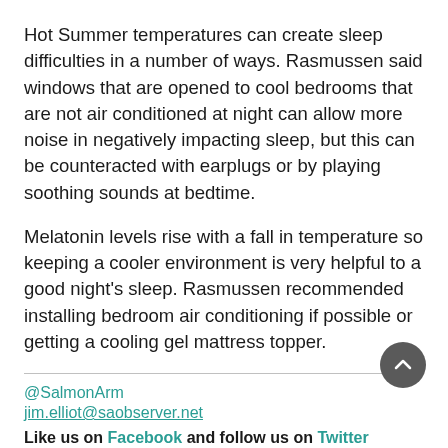Hot Summer temperatures can create sleep difficulties in a number of ways. Rasmussen said windows that are opened to cool bedrooms that are not air conditioned at night can allow more noise in negatively impacting sleep, but this can be counteracted with earplugs or by playing soothing sounds at bedtime.
Melatonin levels rise with a fall in temperature so keeping a cooler environment is very helpful to a good night's sleep. Rasmussen recommended installing bedroom air conditioning if possible or getting a cooling gel mattress topper.
@SalmonArm
jim.elliot@saobserver.net
Like us on Facebook and follow us on Twitter